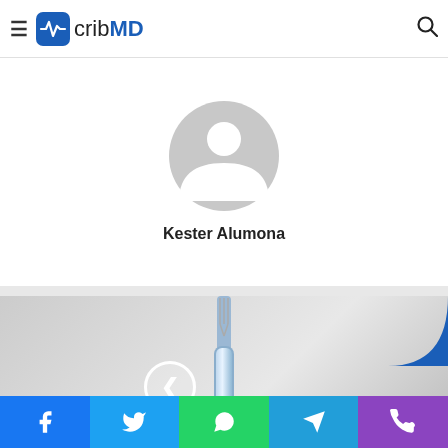[Figure (logo): cribMD logo with blue medical icon and text]
[Figure (photo): Default grey avatar/profile placeholder icon showing silhouette of a person]
Kester Alumona
[Figure (photo): Article thumbnail showing a fork with food items and a bottle, with blue arc decoration and navigation arrow]
[Figure (infographic): Social share bar with Facebook, Twitter, WhatsApp, Telegram, and Phone icons]